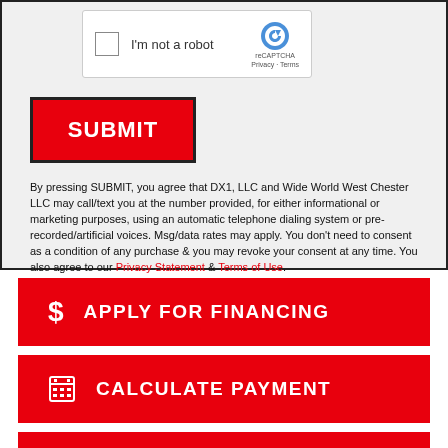[Figure (screenshot): reCAPTCHA widget with checkbox labeled 'I'm not a robot' and reCAPTCHA logo]
[Figure (screenshot): Red SUBMIT button with black border]
By pressing SUBMIT, you agree that DX1, LLC and Wide World West Chester LLC may call/text you at the number provided, for either informational or marketing purposes, using an automatic telephone dialing system or pre-recorded/artificial voices. Msg/data rates may apply. You don't need to consent as a condition of any purchase & you may revoke your consent at any time. You also agree to our Privacy Statement & Terms of Use.
$ APPLY FOR FINANCING
CALCULATE PAYMENT
SCHEDULE A TEST RIDE